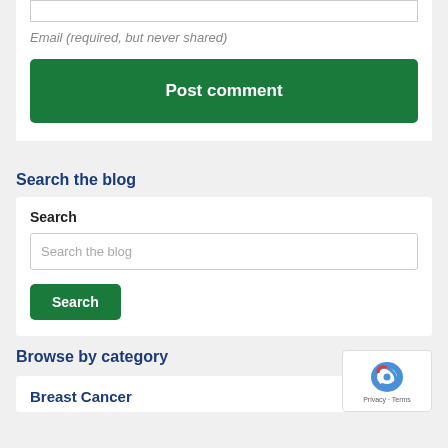Email (required, but never shared)
Post comment
Search the blog
Search
Search the blog
Search
Browse by category
Breast Cancer